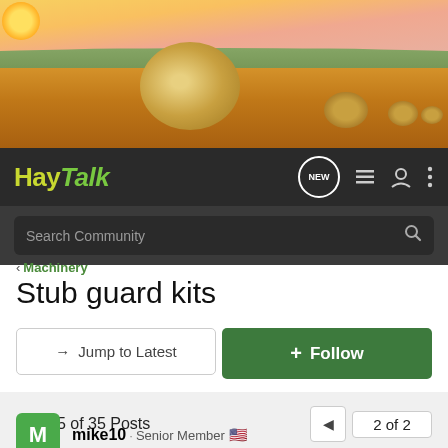[Figure (photo): Hero banner showing hay bales in a golden wheat field at sunset with rolling hills in background]
HayTalk — navigation bar with logo, NEW chat bubble, list icon, user icon, and more options icon
Search Community
< Machinery
Stub guard kits
→ Jump to Latest
+ Follow
21 - 35 of 35 Posts
2 of 2
mike10 · Senior Member 🇺🇸